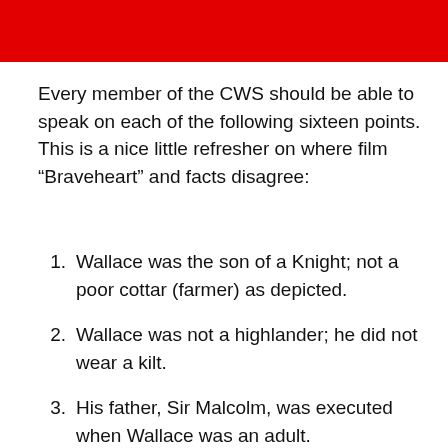Every member of the CWS should be able to speak on each of the following sixteen points. This is a nice little refresher on where film “Braveheart” and facts disagree:
Wallace was the son of a Knight; not a poor cottar (farmer) as depicted.
Wallace was not a highlander; he did not wear a kilt.
His father, Sir Malcolm, was executed when Wallace was an adult.